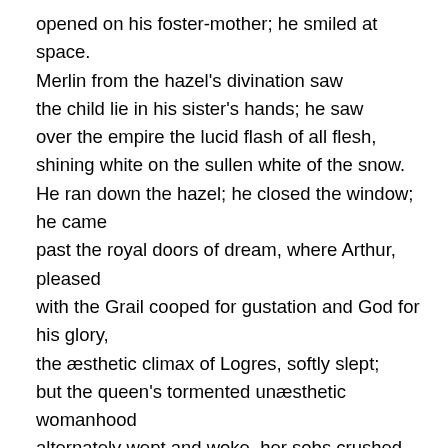opened on his foster-mother; he smiled at space.
Merlin from the hazel's divination saw
the child lie in his sister's hands; he saw
over the empire the lucid flash of all flesh,
shining white on the sullen white of the snow.
He ran down the hazel; he closed the window; he came
past the royal doors of dream, where Arthur, pleased
with the Grail cooped for gustation and God for his glory,
the æsthetic climax of Logres, softly slept;
but the queen's tormented unæsthetic womanhood
alternately wept and woke, her sobs crushed
deep as the winter howls were high, her limbs
swathed by tentacles, her breasts sea-weighed.
Across the flat sea she saw Lancelot
walking, a grotesque back, the opposite of a face
looking backward like a face; she burst the swollen sea